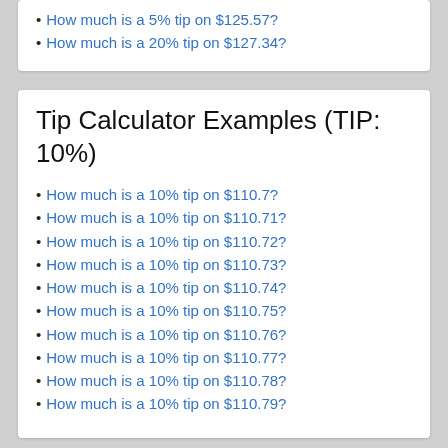How much is a 5% tip on $125.57?
How much is a 20% tip on $127.34?
Tip Calculator Examples (TIP: 10%)
How much is a 10% tip on $110.7?
How much is a 10% tip on $110.71?
How much is a 10% tip on $110.72?
How much is a 10% tip on $110.73?
How much is a 10% tip on $110.74?
How much is a 10% tip on $110.75?
How much is a 10% tip on $110.76?
How much is a 10% tip on $110.77?
How much is a 10% tip on $110.78?
How much is a 10% tip on $110.79?